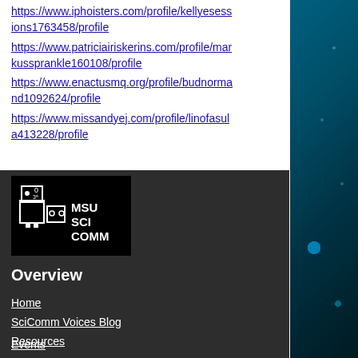https://www.iphoisters.com/profile/kellyesessions1763458/profile
https://www.patriciairiskerins.com/profile/markussprankle160108/profile
https://www.enactusmq.org/profile/budnormand1092624/profile
https://www.missandyej.com/profile/linofasula413228/profile
[Figure (logo): MSU SCI COMM logo — black background with a white robot/science illustration on the left and white bold text reading MSU SCI COMM on the right]
Overview
Home
SciComm Voices Blog
Resources
Events
About